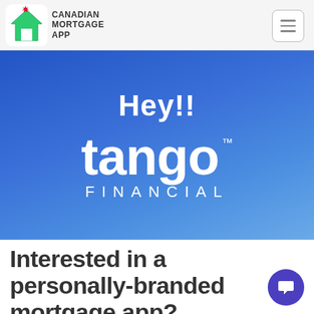CANADIAN MORTGAGE APP
[Figure (logo): Tango Financial logo with 'Hey!!' text and 'tango FINANCIAL' branding on blue gradient background]
Interested in a personally-branded mortgage app?